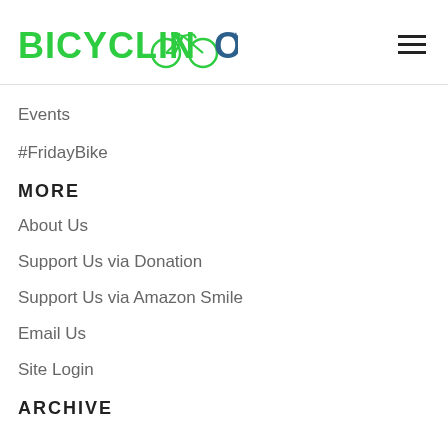BICYCLINCOLN™
Events
#FridayBike
MORE
About Us
Support Us via Donation
Support Us via Amazon Smile
Email Us
Site Login
ARCHIVE